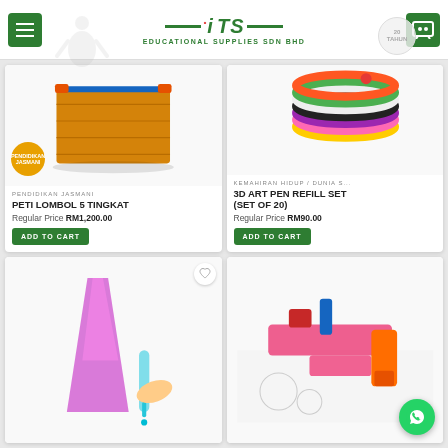[Figure (logo): ITS Educational Supplies Sdn Bhd logo with green text and red dot]
[Figure (photo): Peti Lombol 5 Tingkat wooden vaulting box with orange handles and blue stripe, Pendidikan Jasmani badge]
PENDIDIKAN JASMANI
PETI LOMBOL 5 TINGKAT
Regular Price RM1,200.00
ADD TO CART
[Figure (photo): 3D art pen refill filament coils in multiple colors (orange, green, white, pink, yellow, black, red)]
KEMAHIRAN HIDUP / DUNIA S...
3D ART PEN REFILL SET (SET OF 20)
Regular Price RM90.00
ADD TO CART
[Figure (photo): 3D art pen being used to create a tower sculpture]
[Figure (photo): Rubber stamp set with colorful stamps and ink pads on coloring sheet]
[Figure (logo): WhatsApp floating button]